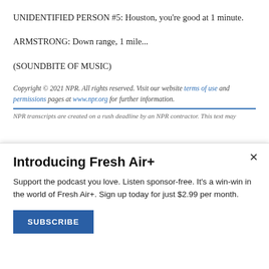UNIDENTIFIED PERSON #5: Houston, you're good at 1 minute.
ARMSTRONG: Down range, 1 mile...
(SOUNDBITE OF MUSIC)
Copyright © 2021 NPR. All rights reserved. Visit our website terms of use and permissions pages at www.npr.org for further information.
NPR transcripts are created on a rush deadline by an NPR contractor. This text may
Introducing Fresh Air+
Support the podcast you love. Listen sponsor-free. It's a win-win in the world of Fresh Air+. Sign up today for just $2.99 per month.
SUBSCRIBE